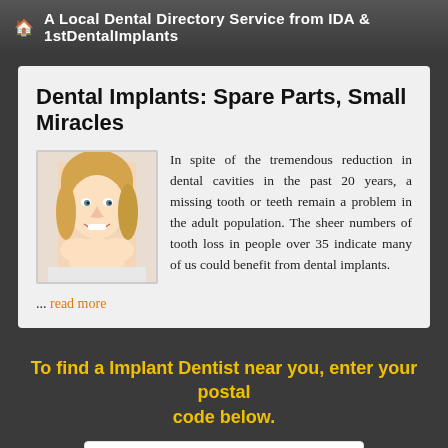🏠 A Local Dental Directory Service from IDA & 1stDentalImplants
Dental Implants: Spare Parts, Small Miracles
[Figure (photo): Smiling blonde woman with hands under chin]
In spite of the tremendous reduction in dental cavities in the past 20 years, a missing tooth or teeth remain a problem in the adult population. The sheer numbers of tooth loss in people over 35 indicate many of us could benefit from dental implants.
... read more
To find a Implant Dentist near you, enter your postal code below.
Enter Your Postal Code Here
Click Here To Find a Dentist